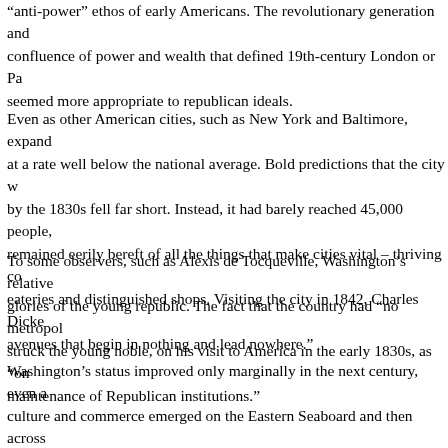"anti-power" ethos of early Americans. The revolutionary generation and confluence of power and wealth that defined 19th-century London or Pa seemed more appropriate to republican ideals.
Even as other American cities, such as New York and Baltimore, expand at a rate well below the national average. Bold predictions that the city w by the 1830s fell far short. Instead, it had barely reached 45,000 people, remained eerily bereft of all the things that make cities vital – thriving co eateries and distinguished shops. Visiting the city in 1842, Charles Dicke avenues that begin in nothing and lead nowhere."
To some observers, such as Alexis de Tocqueville, Washington's relative glories of the young republic. The fact that the country had "no metropol struck the young noble, on his visit to America in the early 1830s, as "on maintenance of Republican institutions."
Washington's status improved only marginally in the next century, even a culture and commerce emerged on the Eastern Seaboard and then across rise of New York was challenged in quick succession by the even more s industrial Midwest and San Francisco on the Gold Rush coast of Califor nerve center of politics, but commerce, culture and the vast majority of t elsewhere.
It would take enormous misfortune – the Depression – to provide Washin spurt. As the business empires of New York, Chicago, Detroit and Cleve